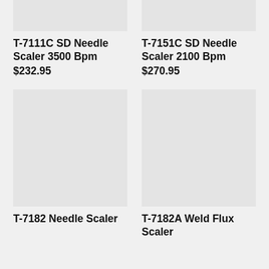[Figure (photo): Product image placeholder for T-7111C SD Needle Scaler (top, cropped)]
[Figure (photo): Product image placeholder for T-7151C SD Needle Scaler (top, cropped)]
T-7111C SD Needle Scaler 3500 Bpm $232.95
T-7151C SD Needle Scaler 2100 Bpm $270.95
[Figure (photo): Product image placeholder for T-7182 Needle Scaler]
[Figure (photo): Product image placeholder for T-7182A Weld Flux Scaler]
T-7182 Needle Scaler
T-7182A Weld Flux Scaler